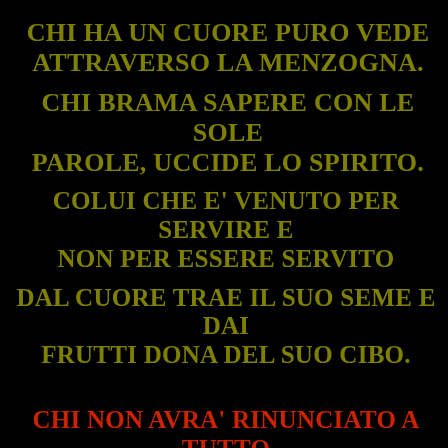CHI HA UN CUORE PURO VEDE ATTRAVERSO LA MENZOGNA.
CHI BRAMA SAPERE CON LE SOLE PAROLE, UCCIDE LO SPIRITO.
COLUI CHE E' VENUTO PER SERVIRE E NON PER ESSERE SERVITO
DAL CUORE TRAE IL SUO SEME E DAI FRUTTI DONA DEL SUO CIBO.
CHI NON AVRA' RINUNCIATO A TUTTO CIO' CHE POSSIEDE NON SARA' LIBERO.
CHI VUOLE SALVARE LA PROPRIA